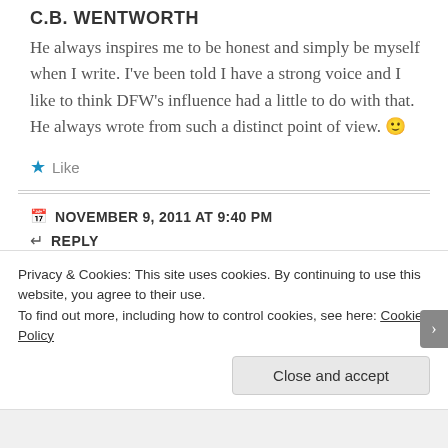C.B. WENTWORTH
He always inspires me to be honest and simply be myself when I write. I've been told I have a strong voice and I like to think DFW's influence had a little to do with that. He always wrote from such a distinct point of view. 🙂
★ Like
NOVEMBER 9, 2011 AT 9:40 PM
↵ REPLY
Privacy & Cookies: This site uses cookies. By continuing to use this website, you agree to their use.
To find out more, including how to control cookies, see here: Cookie Policy
Close and accept